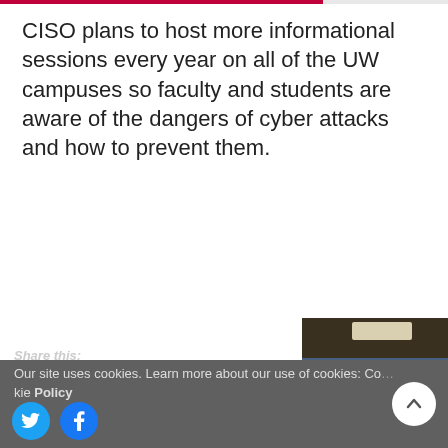CISO plans to host more informational sessions every year on all of the UW campuses so faculty and students are aware of the dangers of cyber attacks and how to prevent them.
[Figure (photo): A lecture room with people seated around tables, a presenter standing at the front near a projected screen showing a blue interface, ceiling lights visible above.]
PHOTO BY SAILU KODAVATI
Share this: Our site uses cookies. Learn more about our use of cookies: Cookie Policy